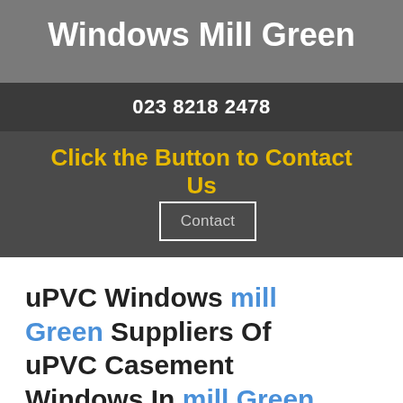Windows Mill Green
023 8218 2478
Click the Button to Contact Us
Contact
uPVC Windows mill Green Suppliers Of uPVC Casement Windows In mill Green